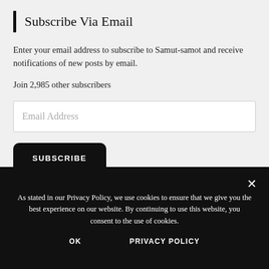Subscribe Via Email
Enter your email address to subscribe to Samut-samot and receive notifications of new posts by email.
Join 2,985 other subscribers
Email Address
SUBSCRIBE
As stated in our Privacy Policy, we use cookies to ensure that we give you the best experience on our website. By continuing to use this website, you consent to the use of cookies.
OK
PRIVACY POLICY